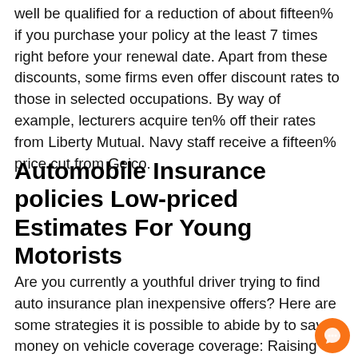well be qualified for a reduction of about fifteen% if you purchase your policy at the least 7 times right before your renewal date. Apart from these discounts, some firms even offer discount rates to those in selected occupations. By way of example, lecturers acquire ten% off their rates from Liberty Mutual. Navy staff receive a fifteen% price cut from Geico.
Automobile Insurance policies Low-priced Estimates For Young Motorists
Are you currently a youthful driver trying to find auto insurance plan inexpensive offers? Here are some strategies it is possible to abide by to save money on vehicle coverage coverage: Raising your deductibles, obtaining a no claims lower price, and acquiring a plan with a regional insurance company. The following pointers can help you save a huge